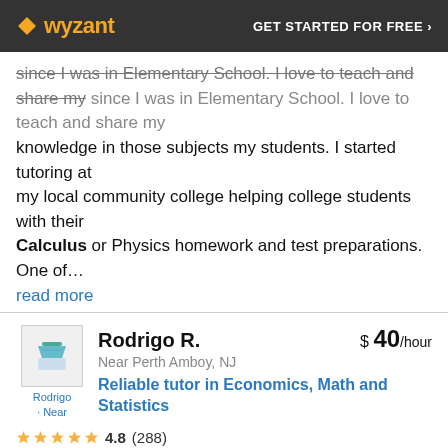wyzant — GET STARTED FOR FREE ›
since I was in Elementary School. I love to teach and share my knowledge in those subjects my students. I started tutoring at my local community college helping college students with their Calculus or Physics homework and test preparations. One of… read more
Rodrigo R. — $ 40/hour — Near Perth Amboy, NJ — Reliable tutor in Economics, Math and Statistics — 4.8 (288) — 59 hours tutoring Calculus out of 1,398 hours — Offers in person & online lessons
I have substantial experience tutoring students in Algebra, Geometry, Trigonometry and Calculus. With this, I am able to